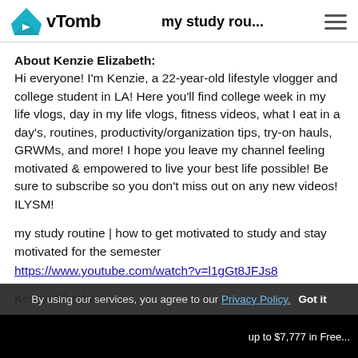vTomb | my study rou...
About Kenzie Elizabeth:
Hi everyone! I'm Kenzie, a 22-year-old lifestyle vlogger and college student in LA! Here you'll find college week in my life vlogs, day in my life vlogs, fitness videos, what I eat in a day's, routines, productivity/organization tips, try-on hauls, GRWMs, and more! I hope you leave my channel feeling motivated & empowered to live your best life possible! Be sure to subscribe so you don't miss out on any new videos! ILYSM!
my study routine | how to get motivated to study and stay motivated for the semester
https://www.youtube.com/watch?v=l1gGt8JFJs8
Kenzie Elizabeth
https://www.youtube.com/UC-mConRSkwYvEvMH3zONM0
By using our services, you agree to our Privacy Policy. Got it